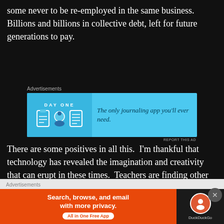some never to be re-employed in the same business. Billions and billions in collective debt, left for future generations to pay.
[Figure (other): DayOne journaling app advertisement banner with light blue background, app icons, and tagline 'The only journaling app you'll ever need.']
There are some positives in all this.  I'm thankful that technology has revealed the imagination and creativity that can erupt in these times.  Teachers are finding other ways to teach; visual storytellers are sharing their talents and experiences through online conferences and workshops; average folk like me are keeping spirits up by posting funny videos and pics in our social media groups.  YouTube favourites provide
[Figure (other): DuckDuckGo app advertisement banner with orange background and DuckDuckGo logo. Text reads 'Search, browse, and email with more privacy. All in One Free App']